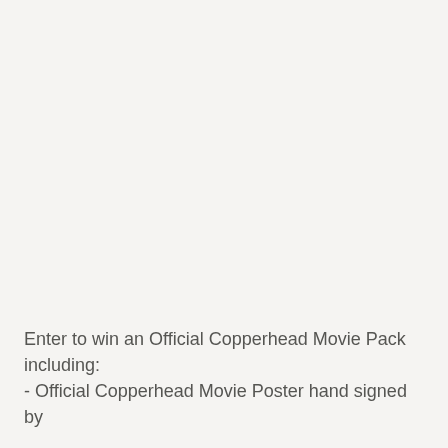Enter to win an Official Copperhead Movie Pack including:
- Official Copperhead Movie Poster hand signed by